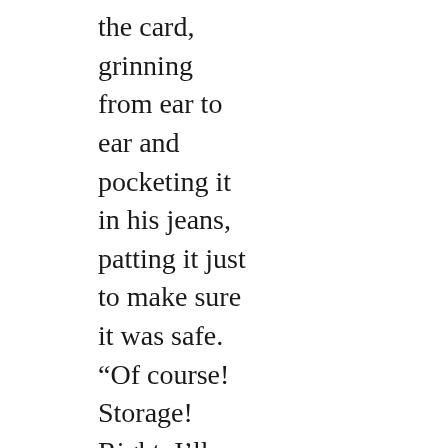the card, grinning from ear to ear and pocketing it in his jeans, patting it just to make sure it was safe. “Of course! Storage! Right. I’ll… uh, maybe give you a call, then.”